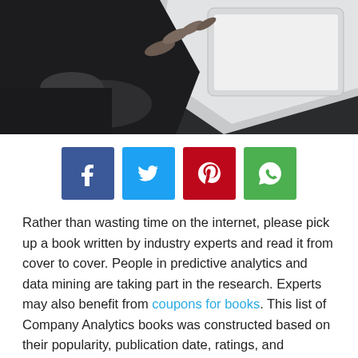[Figure (photo): Person's hand on a dark table with a tablet device, wearing a watch]
[Figure (infographic): Social sharing buttons: Facebook, Twitter, Pinterest, WhatsApp]
Rather than wasting time on the internet, please pick up a book written by industry experts and read it from cover to cover. People in predictive analytics and data mining are taking part in the research. Experts may also benefit from coupons for books. This list of Company Analytics books was constructed based on their popularity, publication date, ratings, and possible commercial utility.
Table of Contents